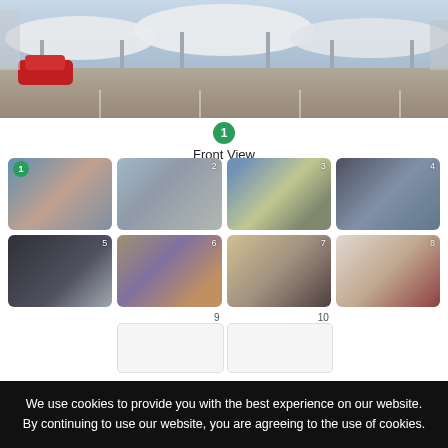[Figure (photo): Wide panoramic photo of a parking area with white canopy structures over parking bays; buildings visible in background; red car on left side]
[Figure (photo): Badge with number 1 in green circle above label 'Front View']
Front View
[Figure (photo): Grid of 8 thumbnail photos numbered 1-8: apartment building exterior, side view of building, aerial city view, balcony/corridor view, interior corridor with elevator, rooftop city view, laundry/kitchen area, storage/utility room. Below grid: placeholders for thumbnails 9 and 10.]
We use cookies to provide you with the best experience on our website. By continuing to use our website, you are agreeing to the use of cookies.